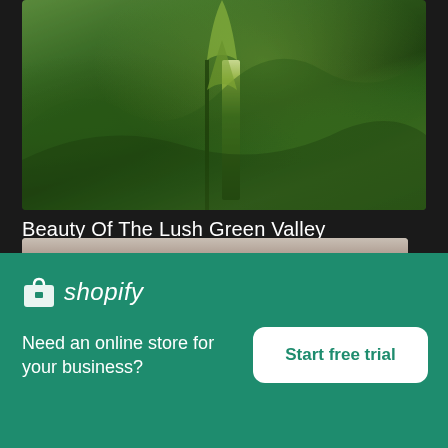[Figure (photo): Aerial view of lush green valley with dense forest and rolling hills]
Beauty Of The Lush Green Valley
High resolution download ↓
[Figure (photo): Partial landscape photo below the title, showing a horizon with pink/red terrain]
[Figure (logo): Shopify logo with shopping bag icon and italic wordmark]
Need an online store for your business?
Start free trial